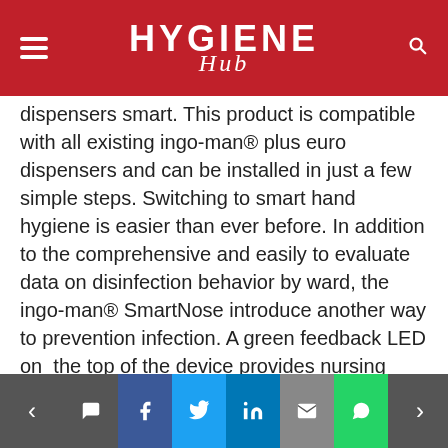HYGIENE Hub
dispensers smart. This product is compatible with all existing ingo-man® plus euro dispensers and can be installed in just a few simple steps. Switching to smart hand hygiene is easier than ever before. In addition to the comprehensive and easily to evaluate data on disinfection behavior by ward, the ingo-man® SmartNose introduce another way to prevention infection. A green feedback LED on the top of the device provides nursing staff, doctors and other medical personnel with immediate feedback as to whether the correct amount of sanitizer has been dispensed.

In the software area, too, the digital systems from OPHARDT Hygiene are constantly evolving. With an updated user interface, the introduction of